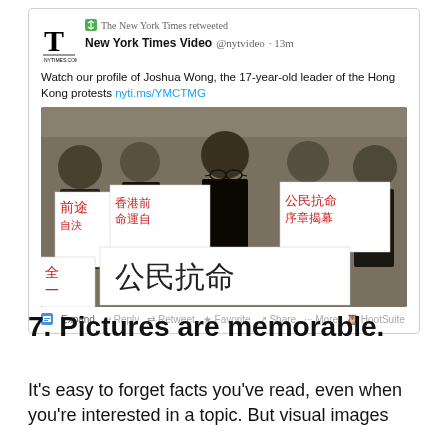[Figure (screenshot): Screenshot of a tweet from New York Times Video (@nytvideo) retweeted by The New York Times, posted 13 minutes ago. Text reads: 'Watch our profile of Joshua Wong, the 17-year-old leader of the Hong Kong protests nyti.ms/YMCTMG'. Includes an embedded photo of young protesters holding signs with Chinese characters including '公民抗命' (civil disobedience). Tweet actions bar shows Expand, Reply, Retweet, Favorite, Share, More, HootSuite.]
7. Pictures are memorable.
It's easy to forget facts you've read, even when you're interested in a topic. But visual images